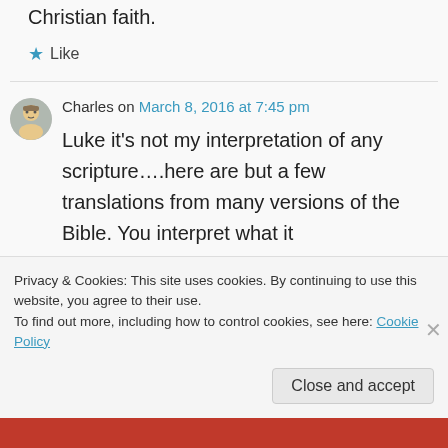Christian faith.
Like
Charles on March 8, 2016 at 7:45 pm
Luke it's not my interpretation of any scripture….here are but a few translations from many versions of the Bible. You interpret what it says…..Leviticus 18:22
Privacy & Cookies: This site uses cookies. By continuing to use this website, you agree to their use.
To find out more, including how to control cookies, see here: Cookie Policy
Close and accept